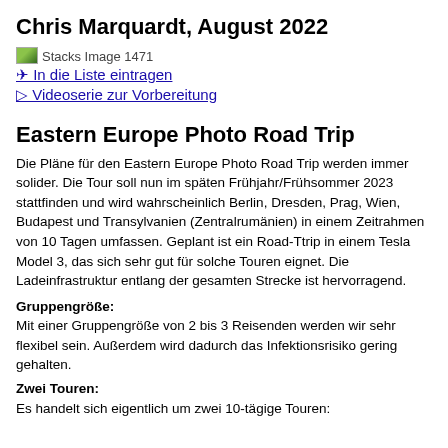Chris Marquardt, August 2022
[Figure (photo): Stacks Image 1471 placeholder image thumbnail]
✈ In die Liste eintragen
▷ Videoserie zur Vorbereitung
Eastern Europe Photo Road Trip
Die Pläne für den Eastern Europe Photo Road Trip werden immer solider. Die Tour soll nun im späten Frühjahr/Frühsommer 2023 stattfinden und wird wahrscheinlich Berlin, Dresden, Prag, Wien, Budapest und Transylvanien (Zentralrumänien) in einem Zeitrahmen von 10 Tagen umfassen. Geplant ist ein Road-Ttrip in einem Tesla Model 3, das sich sehr gut für solche Touren eignet. Die Ladeinfrastruktur entlang der gesamten Strecke ist hervorragend.
Gruppengröße: Mit einer Gruppengröße von 2 bis 3 Reisenden werden wir sehr flexibel sein. Außerdem wird dadurch das Infektionsrisiko gering gehalten.
Zwei Touren: Es handelt sich eigentlich um zwei 10-tägige Touren: